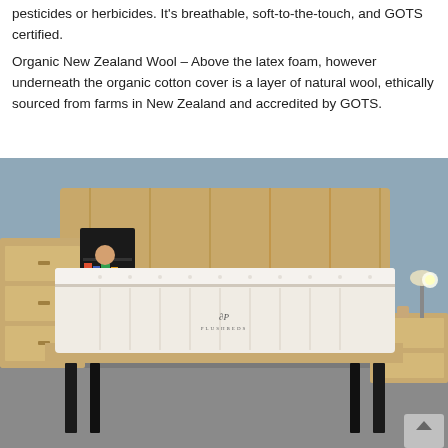pesticides or herbicides. It's breathable, soft-to-the-touch, and GOTS certified.
Organic New Zealand Wool – Above the latex foam, however underneath the organic cotton cover is a layer of natural wool, ethically sourced from farms in New Zealand and accredited by GOTS.
[Figure (photo): A white Plushbeds mattress on a wooden bed frame with black metal legs, set in a bedroom with a wooden headboard, nightstands, dresser, and lamp against a blue wall.]